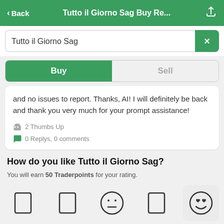< Back   Tutto il Giorno Sag Buy Re...
Tutto il Giorno Sag
Buy | Sell
and no issues to report. Thanks, AI! I will definitely be back and thank you very much for your prompt assistance!
2 Thumbs Up
0 Replys, 0 comments
How do you like Tutto il Giorno Sag?
You will earn 50 Traderpoints for your rating.
[Figure (illustration): Five emoji rating icons in a row: two empty rectangle placeholders, one neutral face emoji, one empty rectangle placeholder, and one heart-eyes smiley face emoji (selected/highlighted with grey background)]